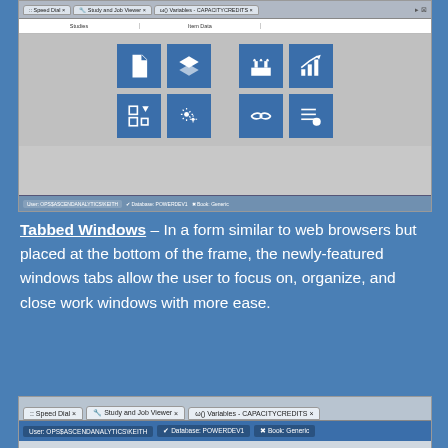[Figure (screenshot): Application UI screenshot showing a grid of blue icon tiles on a gray background, with tab bar at bottom showing Speed Dial, Study and Job Viewer, Variables - CAPACITYCREDITS tabs, and a status bar with user/database/book info]
Tabbed Windows – In a form similar to web browsers but placed at the bottom of the frame, the newly-featured windows tabs allow the user to focus on, organize, and close work windows with more ease.
[Figure (screenshot): Bottom tab bar screenshot showing Speed Dial, Study and Job Viewer, Variables - CAPACITYCREDITS tabs and status bar with User: OPS$ASCENDANALYTICS\KEITH, Database: POWERDEV1, Book: Generic]